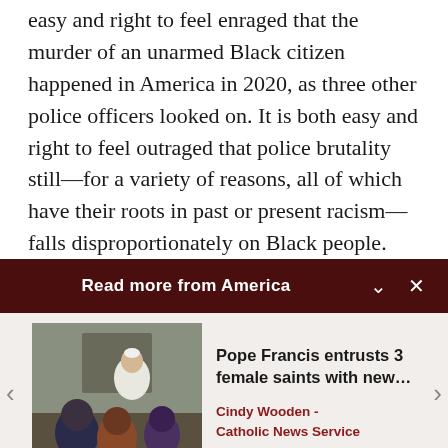easy and right to feel enraged that the murder of an unarmed Black citizen happened in America in 2020, as three other police officers looked on. It is both easy and right to feel outraged that police brutality still—for a variety of reasons, all of which have their roots in past or present racism—falls disproportionately on Black people.
Read more from America
[Figure (photo): Photo of Pope Francis sitting with a group of people in an informal meeting setting]
Pope Francis entrusts 3 female saints with new…
Cindy Wooden - Catholic News Service